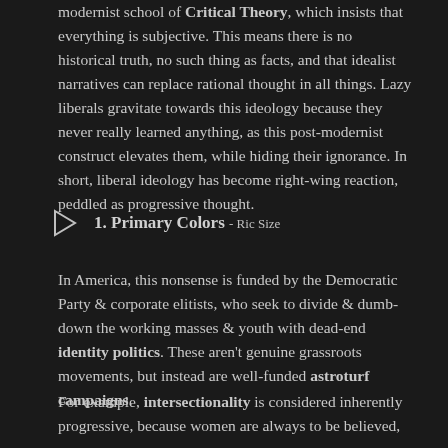modernist school of Critical Theory, which insists that everything is subjective. This means there is no historical truth, no such thing as facts, and that idealist narratives can replace rational thought in all things. Lazy liberals gravitate towards this ideology because they never really learned anything, as this post-modernist construct elevates them, while hiding their ignorance. In short, liberal ideology has become right-wing reaction, peddled as progressive thought.
1. Primary Colors - Ric Size
In America, this nonsense is funded by the Democratic Party & corporate elitists, who seek to divide & dumb-down the working masses & youth with dead-end identity politics. These aren't genuine grassroots movements, but instead are well-funded astroturf campaigns.
For example, intersectionality is considered inherently progressive, because women are always to be believed, and blacks are always the victims of racism. Thi...